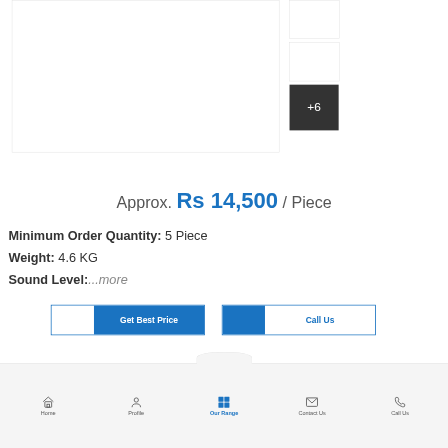[Figure (photo): Main product image area (white/blank) with thumbnail column on right showing two blank thumbnails and a dark +6 overlay button]
Approx. Rs 14,500 / Piece
Minimum Order Quantity: 5 Piece
Weight: 4.6 KG
Sound Level:...more
Get Best Price
Call Us
Home  Profile  Our Range  Contact Us  Call Us